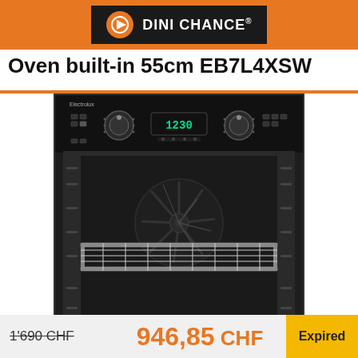DINI CHANCE®
Oven built-in 55cm EB7L4XSW
[Figure (photo): Black built-in oven with control panel at top showing two knobs and digital display reading 1230, open door revealing interior with wire rack shelf and visible fan at back]
1'690 CHF
946,85 CHF
Expired